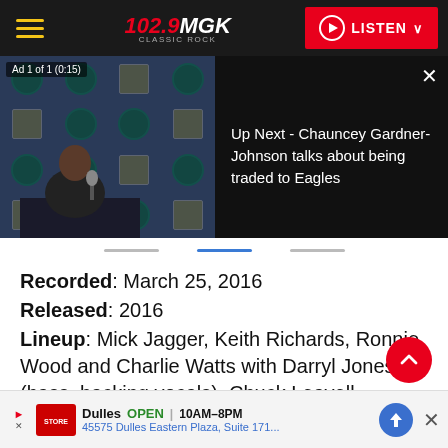102.9 MGK Classic Rock — LISTEN
[Figure (screenshot): Video player showing a press conference with Eagles branding. Left: video frame with 'Ad 1 of 1 (0:15)' label, Eagles logos on backdrop, person seated at table. Right: black panel with 'Up Next - Chauncey Gardner-Johnson talks about being traded to Eagles' text and close X button.]
Recorded: March 25, 2016
Released: 2016
Lineup: Mick Jagger, Keith Richards, Ronnie Wood and Charlie Watts with Darryl Jones (bass, backing vocals), Chuck Leavell (keyboards, backing vocals), Bernard Fowler (backing vocals, percussion), Matt Clifford
[Figure (screenshot): Bottom advertisement banner: Dulles store, OPEN 10AM–8PM, 45575 Dulles Eastern Plaza, Suite 171..., with store logo and directions icon. Close X button on right.]